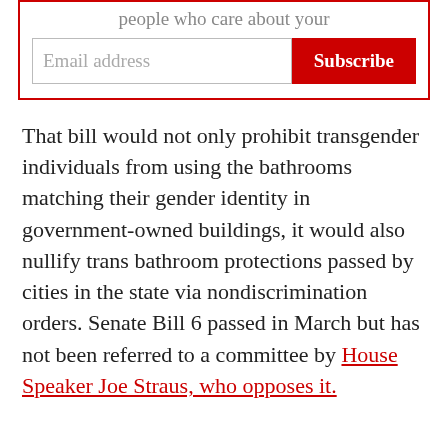[Figure (other): Email subscription widget with a red border, a text input field labeled 'Email address', and a red 'Subscribe' button. Partially visible truncated text at the top reads 'people who care about your']
That bill would not only prohibit transgender individuals from using the bathrooms matching their gender identity in government-owned buildings, it would also nullify trans bathroom protections passed by cities in the state via nondiscrimination orders. Senate Bill 6 passed in March but has not been referred to a committee by House Speaker Joe Straus, who opposes it.